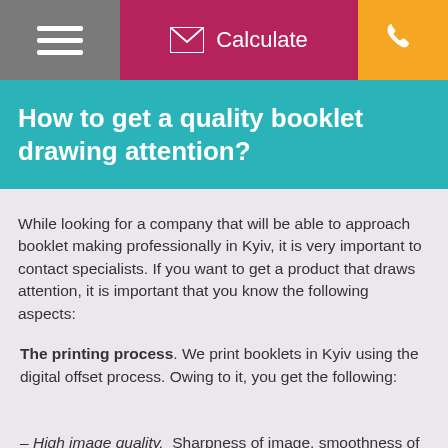Calculate
How to get a quality booklet drawing attention?
While looking for a company that will be able to approach booklet making professionally in Kyiv, it is very important to contact specialists. If you want to get a product that draws attention, it is important that you know the following aspects:
The printing process. We print booklets in Kyiv using the digital offset process. Owing to it, you get the following:
– High image quality. Sharpness of image, smoothness of gradients.